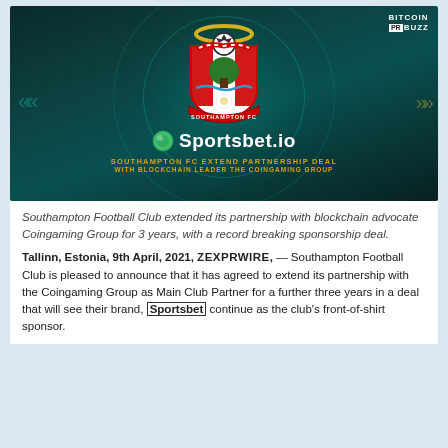[Figure (illustration): Promotional image showing Southampton FC crest and Sportsbet.io logo on dark teal background with text: SOUTHAMPTON FC EXTEND PARTNERSHIP DEAL WITH BLOCKCHAIN LEADER THE COINGAMING GROUP. Bitcoin PR Buzz watermark in top right.]
Southampton Football Club extended its partnership with blockchain advocate Coingaming Group for 3 years, with a record breaking sponsorship deal.
Tallinn, Estonia, 9th April, 2021, ZEXPRWIRE, — Southampton Football Club is pleased to announce that it has agreed to extend its partnership with the Coingaming Group as Main Club Partner for a further three years in a deal that will see their brand, Sportsbet continue as the club's front-of-shirt sponsor.